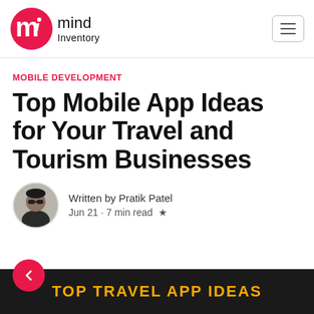mind Inventory
MOBILE DEVELOPMENT
Top Mobile App Ideas for Your Travel and Tourism Businesses
Written by Pratik Patel
Jun 21 · 7 min read ★
[Figure (infographic): Dark banner at bottom with gold text: TOP TRAVEL APP IDEAS, with a red circular back arrow button overlapping the top left]
TOP TRAVEL APP IDEAS